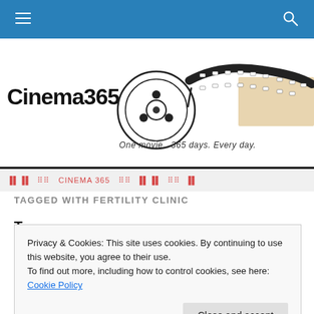Cinema365 — Navigation bar with hamburger menu and search icon
[Figure (logo): Cinema365 logo with film reel and filmstrip graphic. Text: Cinema365. Tagline: One movie. 365 days. Every day.]
TAGGED WITH FERTILITY CLINIC
Privacy & Cookies: This site uses cookies. By continuing to use this website, you agree to their use. To find out more, including how to control cookies, see here: Cookie Policy
Close and accept